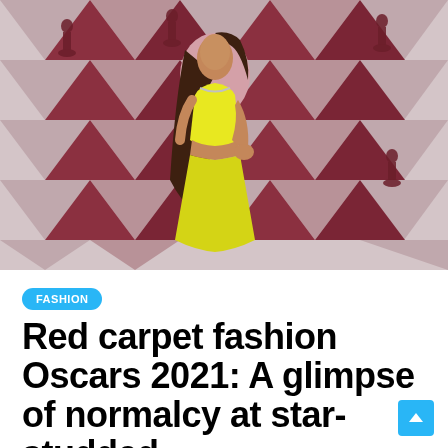[Figure (photo): Zendaya posing at the Oscars 2021 red carpet backdrop wearing a yellow cut-out gown, with long flowing curly hair and a diamond necklace. The backdrop shows the geometric Oscars pattern with Oscar statuette silhouettes in dark red/maroon on a light background.]
FASHION
Red carpet fashion Oscars 2021: A glimpse of normalcy at star-studded